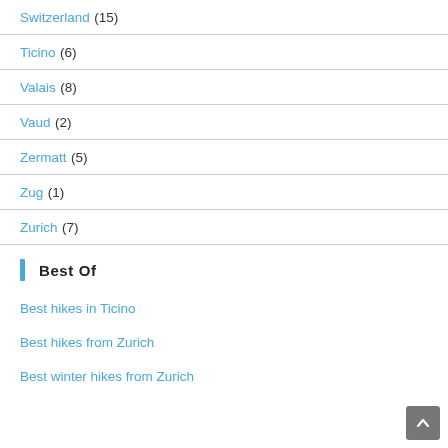Switzerland (15)
Ticino (6)
Valais (8)
Vaud (2)
Zermatt (5)
Zug (1)
Zurich (7)
Best Of
Best hikes in Ticino
Best hikes from Zurich
Best winter hikes from Zurich